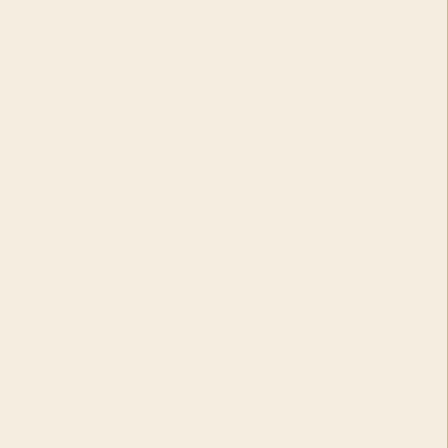outdoor farming and education staff (CE… with FACE. FACE p… education staff (CE…
Ella’s Kitchen
Ella’s Kitchen an in… toddler food regular… as having an amazin… Kitchen goody bag. Five a Day Market … the community to p… also work closely w… visits through Ella’s…
Other organi…
Outdoor Academy a… of their activities an… Every year in June t… schools days when t…